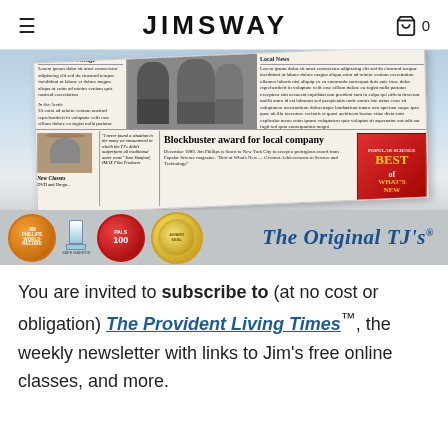JIMSWAY  0
[Figure (photo): Newspaper clipping image showing 'Blockbuster award for local company' headline with photo of two men, badge bar at bottom with Safe Harbor, PALS 100, and gold medal badges, and 'The Original TJ's' text in blue italic]
You are invited to subscribe to (at no cost or obligation) The Provident Living Times™, the weekly newsletter with links to Jim's free online classes, and more.